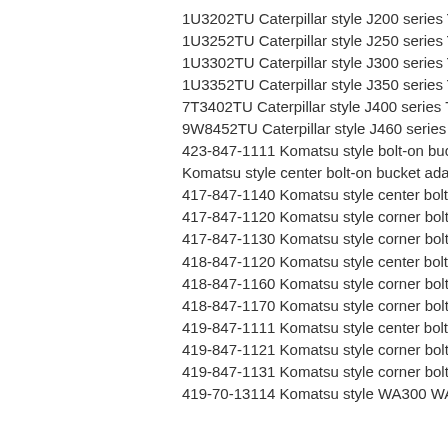1U3202TU Caterpillar style J200 series Twin Tiger U shape bucket tooth adapter
1U3252TU Caterpillar style J250 series Twin Tiger U shape bucket tooth adapter
1U3302TU Caterpillar style J300 series Twin Tiger U shape bucket tooth adapter
1U3352TU Caterpillar style J350 series Twin Tiger U shape bucket tooth adapter
7T3402TU Caterpillar style J400 series Twin Tiger U shape bucket tooth adapter
9W8452TU Caterpillar style J460 series Twin Tiger U shape bucket tooth adapter
423-847-1111 Komatsu style bolt-on bucket adapter for wheel loaders
Komatsu style center bolt-on bucket adapter for wheel loaders WA
417-847-1140 Komatsu style center bolt-on bucket adapter for wheel loaders
417-847-1120 Komatsu style corner bolt-on bucket adapter for wheel loaders
417-847-1130 Komatsu style corner bolt-on bucket adapter for wheel loaders
418-847-1120 Komatsu style center bolt-on bucket adapter for wheel loaders
418-847-1160 Komatsu style corner bolt-on bucket adapter for wheel loaders
418-847-1170 Komatsu style corner bolt-on bucket adapter for wheel loaders
419-847-1111 Komatsu style center bolt-on bucket adapter for wheel loaders
419-847-1121 Komatsu style corner bolt-on bucket adapter for wheel loaders
419-847-1131 Komatsu style corner bolt-on bucket adapter for wheel loaders
419-70-13114 Komatsu style WA300 WA320 Wheel loaders bucket tooth adapter